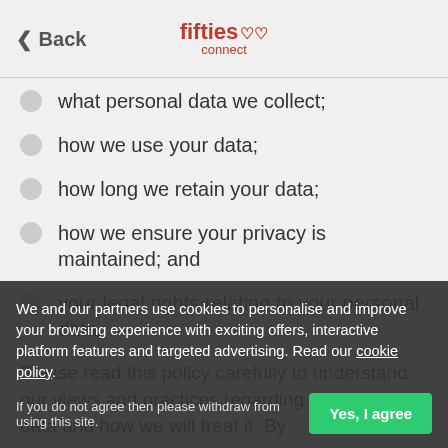Back | fifties connect
what personal data we collect;
how we use your data;
how long we retain your data;
how we ensure your privacy is maintained; and
your legal rights relating to your personal data.
Please read this policy carefully to understand our views and practices regarding your personal data and how we will treat it. By using the Website, you are taken to have read and agreed to the collection, use, disclosure and handling of your personal information
We and our partners use cookies to personalise and improve your browsing experience with exciting offers, interactive platform features and targeted advertising. Read our cookie policy.
If you do not agree then please withdraw from using this site.
Sharing your information with our other w
the com...